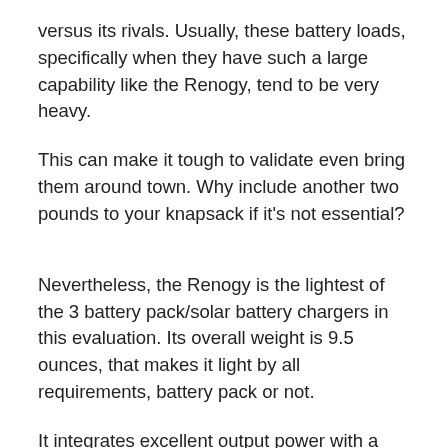versus its rivals. Usually, these battery loads, specifically when they have such a large capability like the Renogy, tend to be very heavy.
This can make it tough to validate even bring them around town. Why include another two pounds to your knapsack if it's not essential?
Nevertheless, the Renogy is the lightest of the 3 battery pack/solar battery chargers in this evaluation. Its overall weight is 9.5 ounces, that makes it light by all requirements, battery pack or not.
It integrates excellent output power with a light-weight, sleek profile, making it our go-to for a battery pack with an integrated photovoltaic